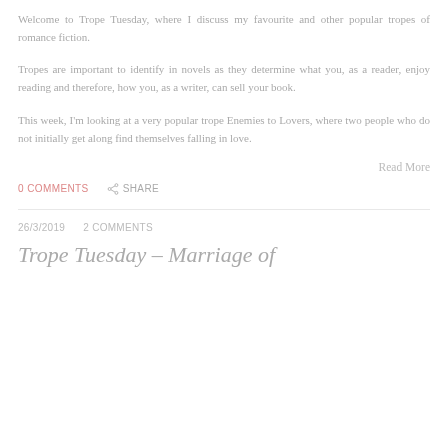Welcome to Trope Tuesday, where I discuss my favourite and other popular tropes of romance fiction.
Tropes are important to identify in novels as they determine what you, as a reader, enjoy reading and therefore, how you, as a writer, can sell your book.
This week, I'm looking at a very popular trope Enemies to Lovers, where two people who do not initially get along find themselves falling in love.
Read More
0 COMMENTS   SHARE
26/3/2019   2 COMMENTS
Trope Tuesday – Marriage of